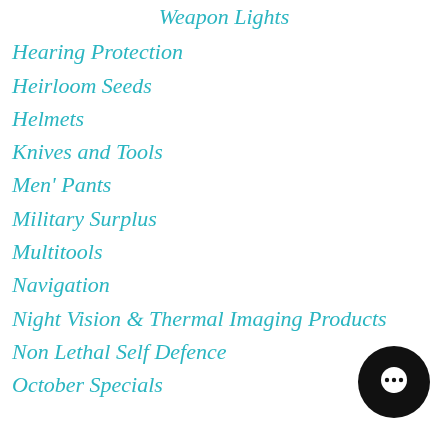Weapon Lights
Hearing Protection
Heirloom Seeds
Helmets
Knives and Tools
Men' Pants
Military Surplus
Multitools
Navigation
Night Vision & Thermal Imaging Products
Non Lethal Self Defence
October Specials